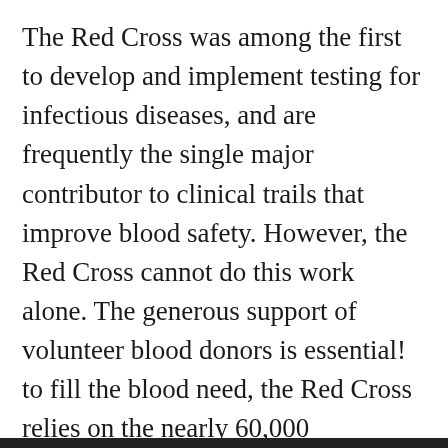The Red Cross was among the first to develop and implement testing for infectious diseases, and are frequently the single major contributor to clinical trails that improve blood safety. However, the Red Cross cannot do this work alone. The generous support of volunteer blood donors is essential! to fill the blood need, the Red Cross relies on the nearly 60,000 organizations that sponsor 200,000 blood drives each year. Through these partnerships, the Red Cross helps provides the nation with a strong and robust blood supply.